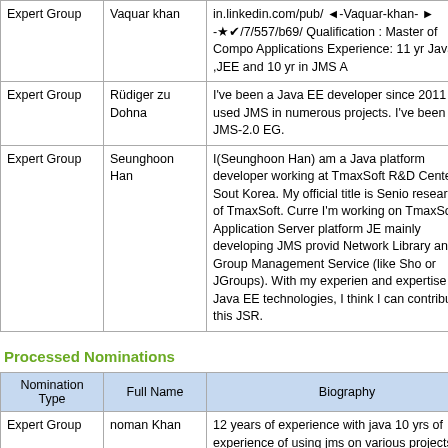| Nomination Type | Full Name | Biography |
| --- | --- | --- |
| Expert Group | Vaquar khan | in.linkedin.com/pub/ ◄-Vaquar-khan- ► -★✔/7/557/b69/ Qualification : Master of Compo Applications Experience: 11 yr Java ,JEE and 10 yr in JMS A |
| Expert Group | Rüdiger zu Dohna | I've been a Java EE developer since 2011 and used JMS in numerous projects. I've been i the JMS-2.0 EG. |
| Expert Group | Seunghoon Han | I(Seunghoon Han) am a Java platform developer working at TmaxSoft R&D Center in Sout Korea. My official title is Senio researcher of TmaxSoft. Curre I'm working on TmaxSoft Application Server platform JE mainly developing JMS provid Network Library and Group Management Service (like Sho or JGroups). With my experien and expertise on Java EE technologies, I think I can contribute to this JSR. |
Processed Nominations
| Nomination Type | Full Name | Biography |
| --- | --- | --- |
| Expert Group | noman Khan | 12 years of experience with java 10 yrs of experience of using jms on various projects using jms wit middleware like tibco ems,mqse solace. LinkedIn https://www.linkedin.com/in/nom 2491418 |